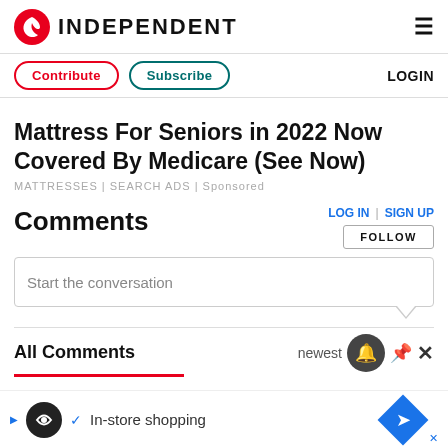INDEPENDENT
Contribute | Subscribe | LOGIN
Mattress For Seniors in 2022 Now Covered By Medicare (See Now)
MATTRESSES | SEARCH ADS | Sponsored
Comments
LOG IN | SIGN UP
FOLLOW
Start the conversation
All Comments
newest
In-store shopping